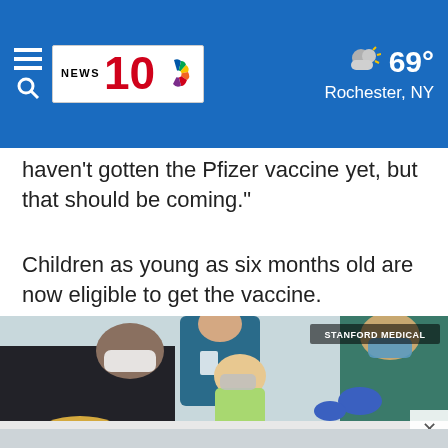NEWS 10 NBC — 69° Rochester, NY
haven't gotten the Pfizer vaccine yet, but that should be coming."
Children as young as six months old are now eligible to get the vaccine.
[Figure (photo): A child wearing a mask sits on an exam table while a male healthcare worker in teal scrubs and blue gloves administers a vaccine injection to the child's arm. A parent wearing a black mask leans in from the left. A nurse in blue scrubs stands behind. The caption 'STANFORD MEDICAL' appears in the top right of the image.]